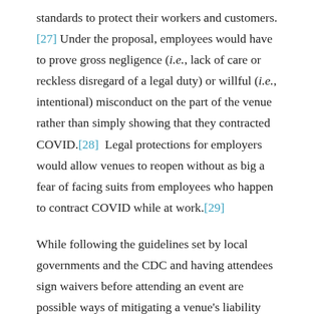standards to protect their workers and customers.[27] Under the proposal, employees would have to prove gross negligence (i.e., lack of care or reckless disregard of a legal duty) or willful (i.e., intentional) misconduct on the part of the venue rather than simply showing that they contracted COVID.[28]  Legal protections for employers would allow venues to reopen without as big a fear of facing suits from employees who happen to contract COVID while at work.[29]
While following the guidelines set by local governments and the CDC and having attendees sign waivers before attending an event are possible ways of mitigating a venue's liability upon reopening, those actions are not absolute protections.[30]  Another option for venues trying to reopen and significantly mitigate the risks associated with COVID is to host